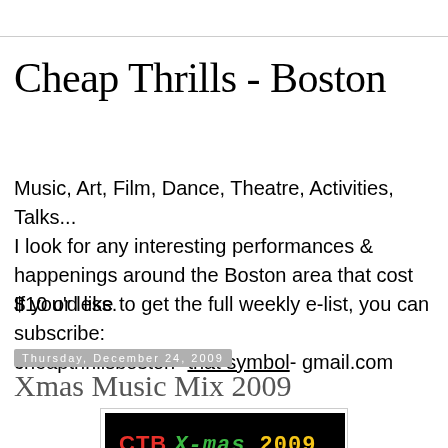Cheap Thrills - Boston
Music, Art, Film, Dance, Theatre, Activities, Talks...
I look for any interesting performances & happenings around the Boston area that cost $10 or less.
If you'd like to get the full weekly e-list, you can subscribe: cheapthrillsboston -that symbol- gmail.com
Thursday, December 24, 2009
Xmas Music Mix 2009
[Figure (photo): Black background image with 'CTB X-mas 2009' text in red, green, and yellow, with a Christmas tree with lights at the bottom]